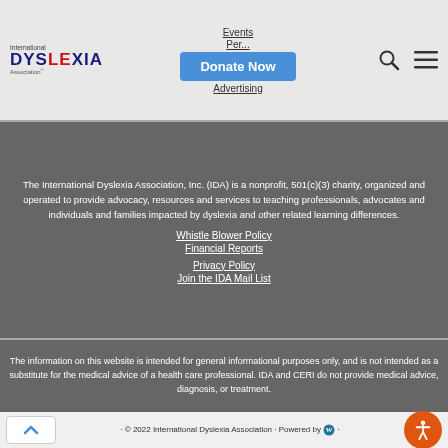Events | Per... | Advertising | Donate Now
[Figure (logo): International Dyslexia Association logo with IDA text and red X]
The International Dyslexia Association, Inc. (IDA) is a nonprofit, 501(c)(3) charity, organized and operated to provide advocacy, resources and services to teaching professionals, advocates and individuals and families impacted by dyslexia and other related learning differences.
Whistle Blower Policy
Financial Reports
Privacy Policy
Join the IDA Mail List
The information on this website is intended for general informational purposes only, and is not intended as a substitute for the medical advice of a health care professional. IDA and CERI do not provide medical advice, diagnosis, or treatment.
© 2022 International Dyslexia Association · Powered by WordPress ·